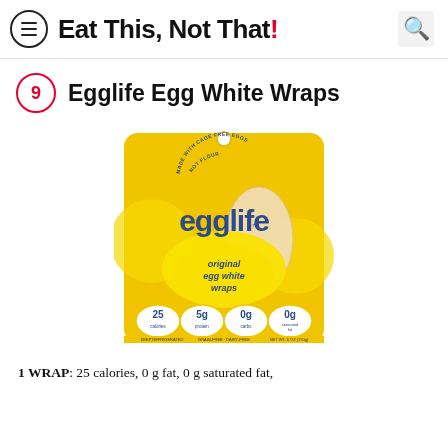Eat This, Not That!
9 Egglife Egg White Wraps
[Figure (photo): Yellow package of Egglife original egg white wraps showing nutrition info: 25 calories, 5g protein, 0g carbs, 0g saturated fat. MADE WITH CAGE FREE EGGS NOT FLOUR. Grain-Free + Dairy-Free. NET WT. 6 OZ (170g).]
1 WRAP: 25 calories, 0 g fat, 0 g saturated fat,